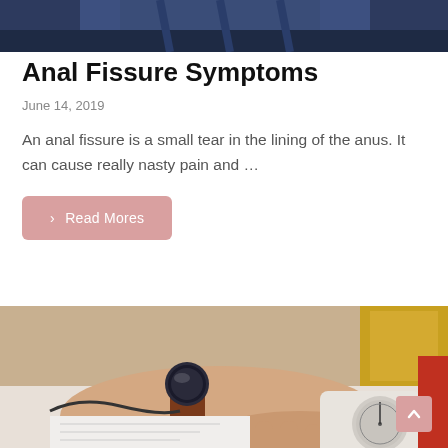[Figure (photo): Cropped photo at top showing person wearing jeans, dark background]
Anal Fissure Symptoms
June 14, 2019
An anal fissure is a small tear in the lining of the anus. It can cause really nasty pain and ...
› Read Mores
[Figure (photo): Photo of a person wearing a watch using a blood pressure monitor device, with a yellow box and red clothing in the background]